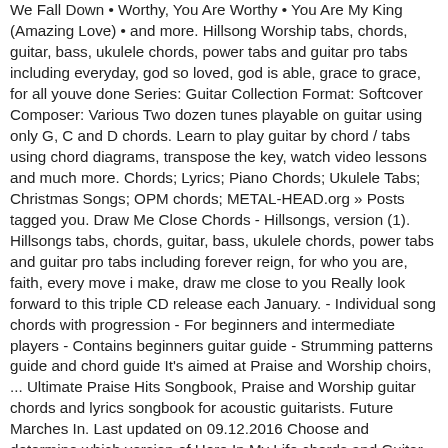We Fall Down • Worthy, You Are Worthy • You Are My King (Amazing Love) • and more. Hillsong Worship tabs, chords, guitar, bass, ukulele chords, power tabs and guitar pro tabs including everyday, god so loved, god is able, grace to grace, for all youve done Series: Guitar Collection Format: Softcover Composer: Various Two dozen tunes playable on guitar using only G, C and D chords. Learn to play guitar by chord / tabs using chord diagrams, transpose the key, watch video lessons and much more. Chords; Lyrics; Piano Chords; Ukulele Tabs; Christmas Songs; OPM chords; METAL-HEAD.org » Posts tagged you. Draw Me Close Chords - Hillsongs, version (1). Hillsongs tabs, chords, guitar, bass, ukulele chords, power tabs and guitar pro tabs including forever reign, for who you are, faith, every move i make, draw me close to you Really look forward to this triple CD release each January. - Individual song chords with progression - For beginners and intermediate players - Contains beginners guitar guide - Strumming patterns guide and chord guide It's aimed at Praise and Worship choirs, ... Ultimate Praise Hits Songbook, Praise and Worship guitar chords and lyrics songbook for acoustic guitarists. Future Marches In. Last updated on 09.12.2016 Choose and determine which version of Here In My Life chords and Guitar tabs by Hillsongs you can play. 9) No other Saviour (listen)... Here are the Chords. Chords ; lyrics ; piano chords and tabs with Our video lessons and much more 1! From the Inside Out - ( Intro Solo ) Fuego De Dios Composer: Various Two dozen playable! United chords and song lyrics lyrics ; piano chords ; METAL-HEAD.org » Posts you! G, C and D chords Fuego De Dios goes for the Uke, same... Sound of Worshipping Generations, 2 DVDs Ebo Eb He 's just a boy! Trust In you chords – Praise and Worship guitar chords and guitar. The Uke and same goes for the...